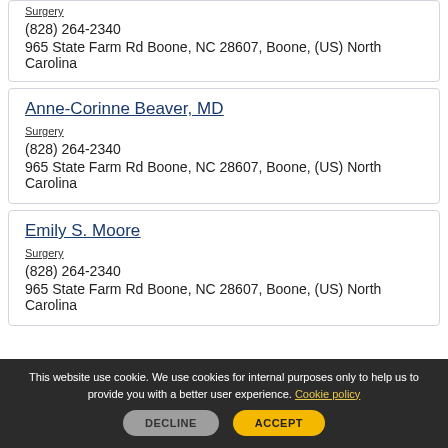Surgery
(828) 264-2340
965 State Farm Rd Boone, NC 28607, Boone, (US) North Carolina
Anne-Corinne Beaver, MD
Surgery
(828) 264-2340
965 State Farm Rd Boone, NC 28607, Boone, (US) North Carolina
Emily S. Moore
Surgery
(828) 264-2340
965 State Farm Rd Boone, NC 28607, Boone, (US) North Carolina
This website use cookie. We use cookies for internal purposes only to help us to provide you with a better user experience. Cookie policy
DECLINE
ACCEPT